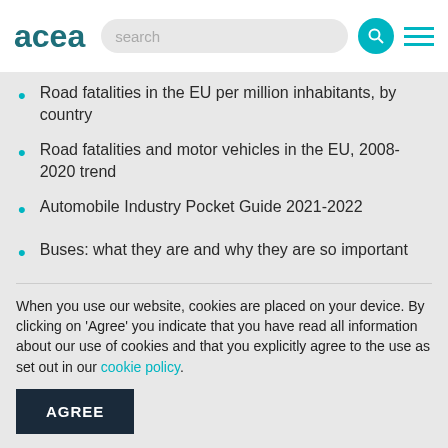acea
Road fatalities in the EU per million inhabitants, by country
Road fatalities and motor vehicles in the EU, 2008-2020 trend
Automobile Industry Pocket Guide 2021-2022
Buses: what they are and why they are so important
Trucks: what they are and why they are so
When you use our website, cookies are placed on your device. By clicking on 'Agree' you indicate that you have read all information about our use of cookies and that you explicitly agree to the use as set out in our cookie policy.
AGREE